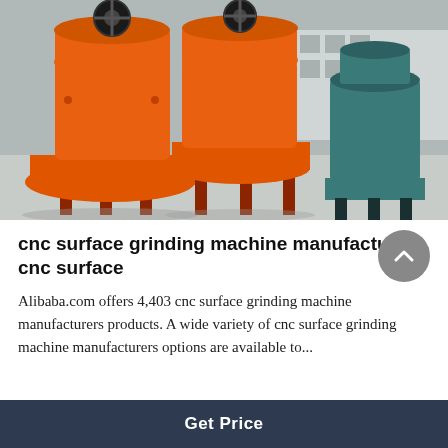[Figure (photo): Photograph of large orange industrial grinding/milling machines parked outdoors in a factory yard, with teal-colored machinery visible in the background.]
cnc surface grinding machine manufacturers, cnc surface
Alibaba.com offers 4,403 cnc surface grinding machine manufacturers products. A wide variety of cnc surface grinding machine manufacturers options are available to...
Get Price